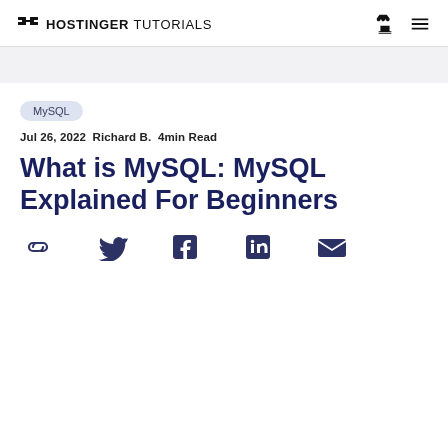HOSTINGER TUTORIALS
MySQL
Jul 26, 2022  Richard B.  4min Read
What is MySQL: MySQL Explained For Beginners
[Figure (infographic): Social share icons: link, Twitter, Facebook, LinkedIn, Email]